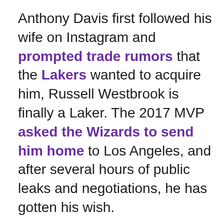Anthony Davis first followed his wife on Instagram and prompted trade rumors that the Lakers wanted to acquire him, Russell Westbrook is finally a Laker. The 2017 MVP asked the Wizards to send him home to Los Angeles, and after several hours of public leaks and negotiations, he has gotten his wish.